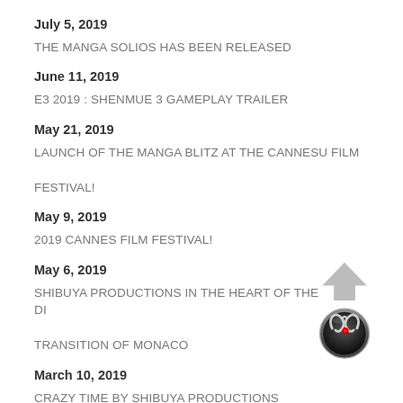July 5, 2019
THE MANGA SOLIOS HAS BEEN RELEASED
June 11, 2019
E3 2019 : SHENMUE 3 GAMEPLAY TRAILER
May 21, 2019
LAUNCH OF THE MANGA BLITZ AT THE CANNESU FILM FESTIVAL!
May 9, 2019
2019 CANNES FILM FESTIVAL!
May 6, 2019
SHIBUYA PRODUCTIONS IN THE HEART OF THE DIGITAL TRANSITION OF MONACO
[Figure (logo): Shibuya Productions logo: circular metallic badge with stylized snake/fish design and red eye, with a grey upward arrow above it]
March 10, 2019
CRAZY TIME BY SHIBUYA PRODUCTIONS